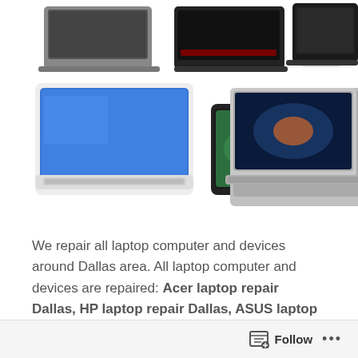[Figure (photo): Collage of various laptops, tablets, and portable devices including a slim laptop, gaming laptop with red keyboard, tablet, black laptop, white Sony laptop, Android tablet, small netbook, and MacBook Pro]
We repair all laptop computer and devices around Dallas area. All laptop computer and devices are repaired: Acer laptop repair Dallas, HP laptop repair Dallas, ASUS laptop repair Dallas, Dell laptop Computer, Toshiba laptop repair Dallas, Lenovo laptop repair Dallas, MSI laptop repair Dallas, Alienware laptop repair Dallas.
Follow ...